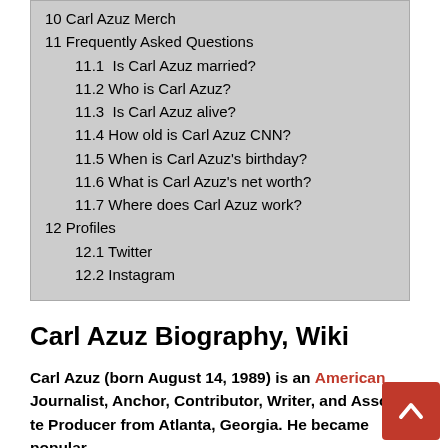10 Carl Azuz Merch
11 Frequently Asked Questions
11.1  Is Carl Azuz married?
11.2  Who is Carl Azuz?
11.3  Is Carl Azuz alive?
11.4  How old is Carl Azuz CNN?
11.5  When is Carl Azuz's birthday?
11.6  What is Carl Azuz's net worth?
11.7  Where does Carl Azuz work?
12 Profiles
12.1  Twitter
12.2  Instagram
Carl Azuz Biography, Wiki
Carl Azuz (born August 14, 1989) is an American Journalist, Anchor, Contributor, Writer, and Associate Producer from Atlanta, Georgia. He became popular